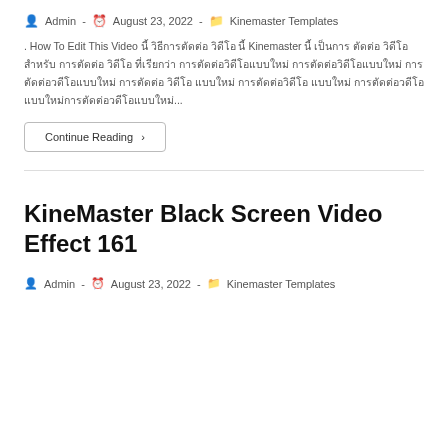Admin · August 23, 2022 · Kinemaster Templates
. How To Edit This Video นี้ วิธีการตัดต่อ วิดีโอ นี้ Kinemaster นี้ เป็นการ ตัดต่อ วิดีโอ สำหรับ การตัดต่อ วิดีโอ ที่เรียกว่า การตัดต่อวิดีโอแบบใหม่ การตัดต่อวิดีโอแบบใหม่ การตัดต่อวิดีโอแบบใหม่ การตัดต่อ วิดีโอ แบบใหม่ การตัดต่อวิดีโอ แบบใหม่ การตัดต่อวดีโอ แบบใหม่...
Continue Reading ›
KineMaster Black Screen Video Effect 161
Admin · August 23, 2022 · Kinemaster Templates